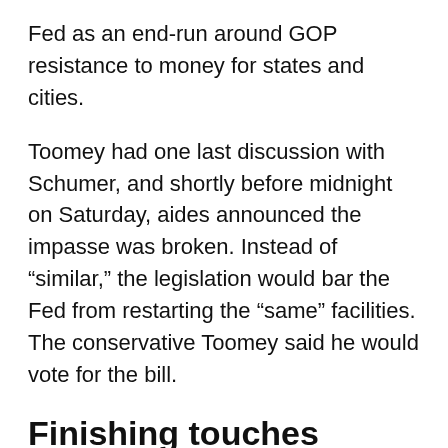Fed as an end-run around GOP resistance to money for states and cities.
Toomey had one last discussion with Schumer, and shortly before midnight on Saturday, aides announced the impasse was broken. Instead of “similar,” the legislation would bar the Fed from restarting the “same” facilities. The conservative Toomey said he would vote for the bill.
Finishing touches
Even after Senate negotiators settled the Fed standoff, it took days for the House and Senate to vote.
In the meantime, lawmakers furiously lobbied to